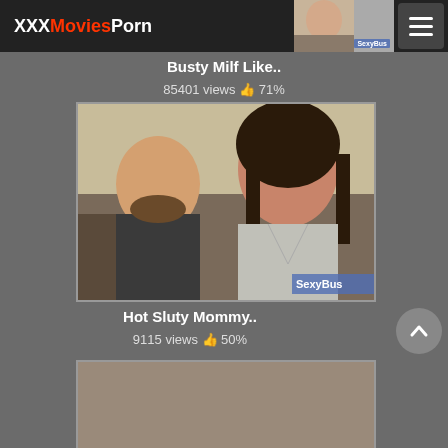XXXMoviesPorn
Busty Milf Like..
85401 views 👍 71%
[Figure (photo): Video thumbnail showing two people on a couch, woman in grey top with SexyBus watermark]
Hot Sluty Mommy..
9115 views 👍 50%